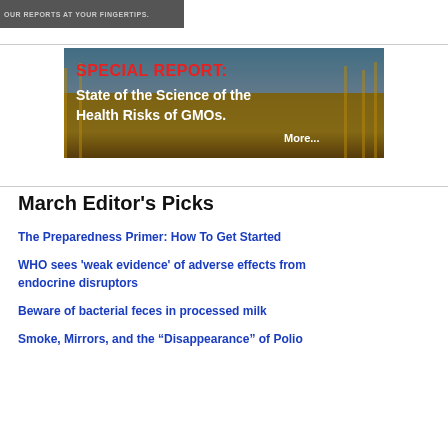[Figure (screenshot): Dark grey banner with text 'OUR REPORTS AT YOUR FINGERTIPS.' in light grey uppercase letters]
[Figure (infographic): Special Report banner image showing corn/wheat field background with red text 'SPECIAL REPORT:' and white text 'State of the Science of the Health Risks of GMOs. More...']
March Editor's Picks
The Preparedness Primer: How To Get Started
WHO sees 'weak evidence' of adverse effects from endocrine disruptors
Beware of bacterial feces in processed milk
Smoke, Mirrors, and the “Disappearance” of Polio